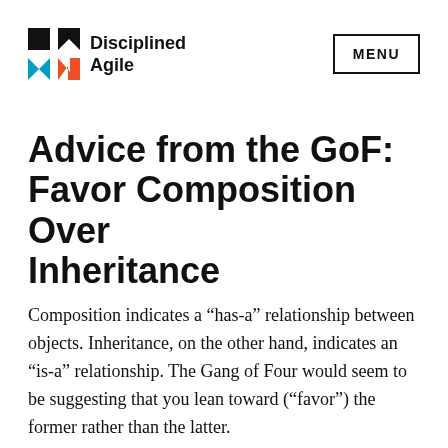PM Disciplined Agile | MENU
Advice from the GoF: Favor Composition Over Inheritance
Composition indicates a “has-a” relationship between objects. Inheritance, on the other hand, indicates an “is-a” relationship. The Gang of Four would seem to be suggesting that you lean toward (“favor”) the former rather than the latter.